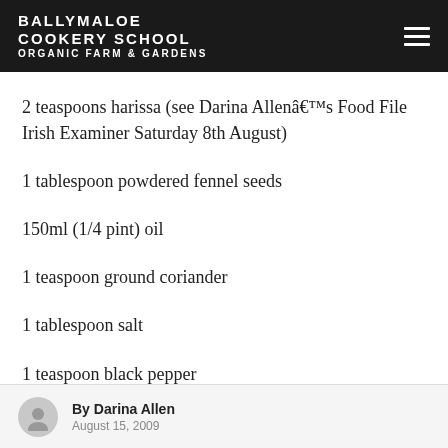BALLYMALOE COOKERY SCHOOL ORGANIC FARM & GARDENS
2 teaspoons harissa (see Darina Allenâ€™s Food File Irish Examiner Saturday 8th August)
1 tablespoon powdered fennel seeds
150ml (1/4 pint) oil
1 teaspoon ground coriander
1 tablespoon salt
1 teaspoon black pepper
By Darina Allen August 15, 2009